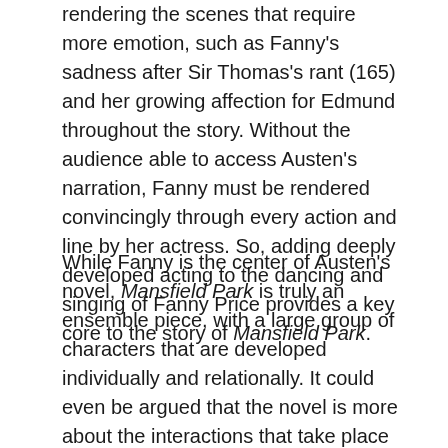rendering the scenes that require more emotion, such as Fanny's sadness after Sir Thomas's rant (165) and her growing affection for Edmund throughout the story. Without the audience able to access Austen's narration, Fanny must be rendered convincingly through every action and line by her actress. So, adding deeply developed acting to the dancing and singing of Fanny Price provides a key core to the story of Mansfield Park.
While Fanny is the center of Austen's novel, Mansfield Park is truly an ensemble piece, with a large group of characters that are developed individually and relationally. It could even be argued that the novel is more about the interactions that take place in and around Mansfield as opposed to a particular character. Fanny is the character that requires the most